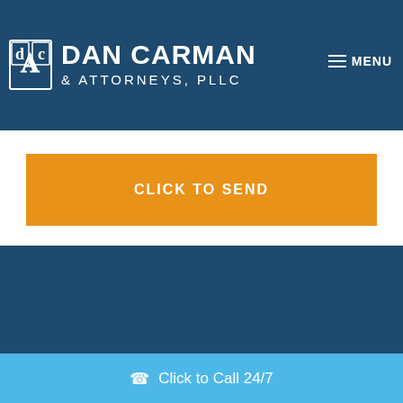[Figure (logo): Dan Carman & Attorneys, PLLC law firm logo with decorative DC monogram icon and firm name in white text on dark blue background]
MENU
CLICK TO SEND
Click to Call 24/7